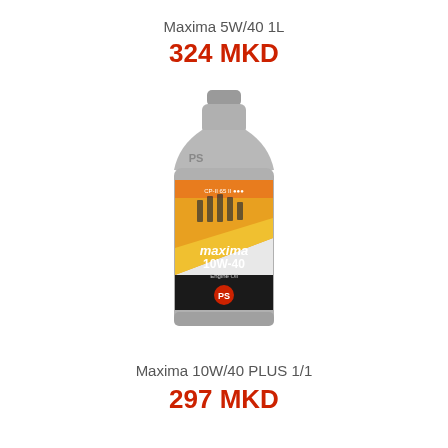Maxima 5W/40 1L
324 MKD
[Figure (photo): A gray 1-liter plastic bottle of Maxima 10W-40 engine oil with PS branding. The label shows engine pistons and has orange and yellow diagonal design elements with 'maxima 10W-40' text and 'Engine Oil' subtitle with PS logo.]
Maxima 10W/40 PLUS 1/1
297 MKD